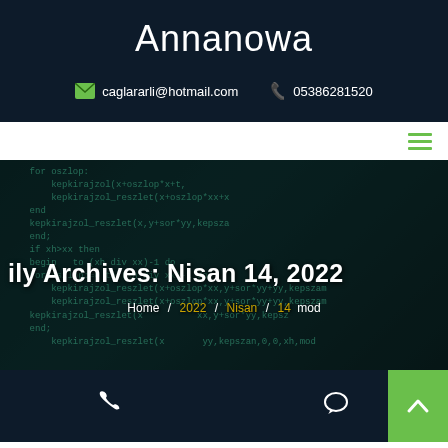Annanowa
caglararli@hotmail.com   05386281520
[Figure (screenshot): Navigation bar with hamburger menu icon in green on white background]
[Figure (screenshot): Hero banner with dark teal code background showing programming code text. Overlaid text reads 'ily Archives: Nisan 14, 2022' with breadcrumb: Home / 2022 / Nisan / 14]
ily Archives: Nisan 14, 2022
Home / 2022 / Nisan / 14
Phone icon, Chat icon, scroll-to-top button